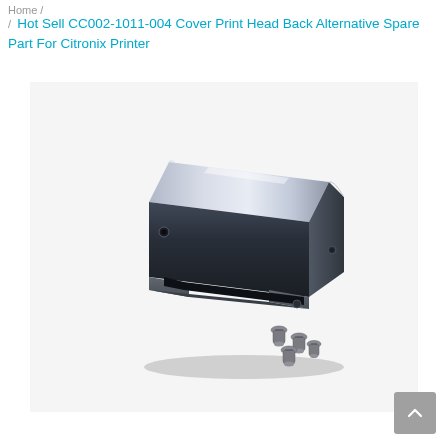Home / Hot Sell CC002-1011-004 Cover Print Head Back Alternative Spare Part For Citronix Printer
Hot Sell CC002-1011-004 Cover Print Head Back Alternative Spare Part For Citronix Printer
[Figure (photo): A metallic dark grey/black U-shaped cover bracket (print head back cover) for a Citronix printer, shown at an angle with small screws/bolts beside it. The part number is CC002-1011-004.]